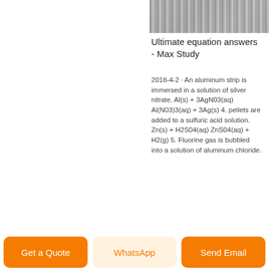[Figure (photo): Coiled metal wire or aluminum strip, top right image]
Ultimate equation answers - Max Study
2018-4-2 · An aluminum strip is immersed in a solution of silver nitrate. Al(s) + 3AgN03(aq) Al(N03)3(aq) + 3Ag(s) 4. pellets are added to a sulfuric acid solution. Zn(s) + H2S04(aq) ZnS04(aq) + H2(g) 5. Fluorine gas is bubbled into a solution of aluminum chloride.
[Figure (photo): Coiled metal wire, bottom left image (partial)]
[Figure (photo): Coiled metal wire, bottom right image (partial)]
Get a Quote
WhatsApp
Send Email